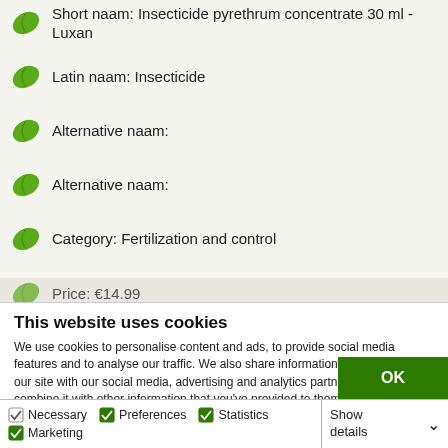Short naam: Insecticide pyrethrum concentrate 30 ml - Luxan
Latin naam: Insecticide
Alternative naam:
Alternative naam:
Category: Fertilization and control
Pieces/packaging: 1
Price: €14.99
This website uses cookies
We use cookies to personalise content and ads, to provide social media features and to analyse our traffic. We also share information about your use of our site with our social media, advertising and analytics partners who may combine it with other information that you've provided to them or that they've collected from your use of their services.
OK
Necessary  Preferences  Statistics  Marketing  Show details